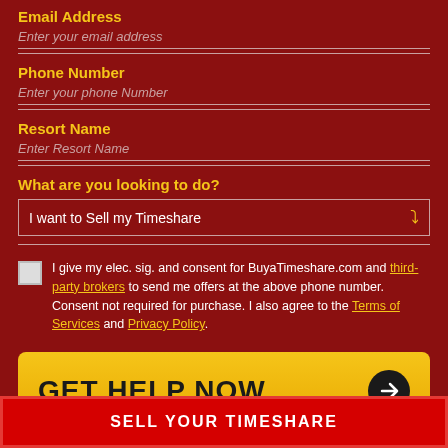Email Address
Enter your email address
Phone Number
Enter your phone Number
Resort Name
Enter Resort Name
What are you looking to do?
I want to Sell my Timeshare
I give my elec. sig. and consent for BuyaTimeshare.com and third-party brokers to send me offers at the above phone number. Consent not required for purchase. I also agree to the Terms of Services and Privacy Policy.
GET HELP NOW
Contact Us
SELL YOUR TIMESHARE